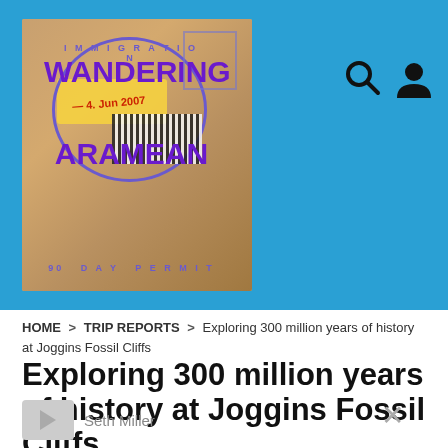[Figure (illustration): Header banner with blue background showing a passport stamp illustration. The stamp has a purple circular border with 'IMMIGRATION' text at top, 'WANDERING' in large purple bold text, 'ARAMEAN' in large purple bold text, a red date stamp, a yellow card, a barcode block, and '90 DAY PERMIT' at the bottom. Search and user profile icons appear to the right.]
HOME > TRIP REPORTS > Exploring 300 million years of history at Joggins Fossil Cliffs
Exploring 300 million years of history at Joggins Fossil Cliffs
Seth Miller